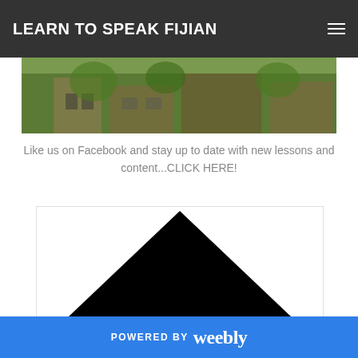LEARN TO SPEAK FIJIAN
[Figure (photo): Partial photo showing a building or structure with greenery, cropped at the top of the page]
Like us on Facebook and stay up to date with new lessons and content...CLICK HERE!
[Figure (illustration): A large black triangle (pyramid shape) on a white background]
POWERED BY weebly